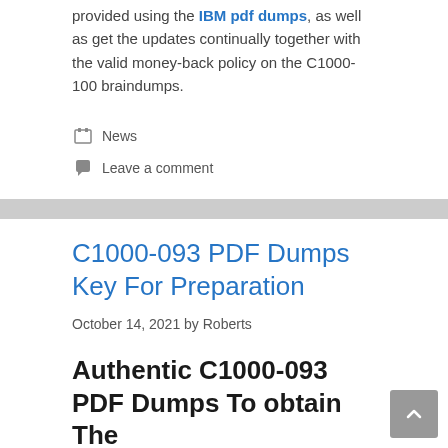provided using the IBM pdf dumps, as well as get the updates continually together with the valid money-back policy on the C1000-100 braindumps.
News
Leave a comment
C1000-093 PDF Dumps Key For Preparation
October 14, 2021 by Roberts
Authentic C1000-093 PDF Dumps To obtain The